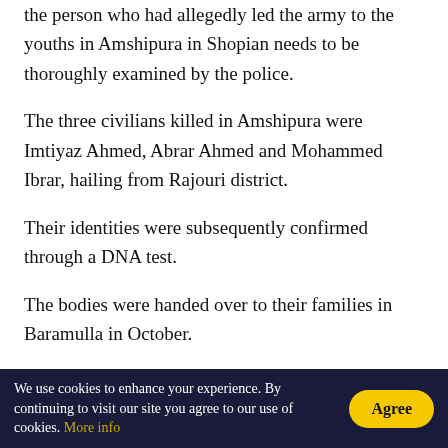the person who had allegedly led the army to the youths in Amshipura in Shopian needs to be thoroughly examined by the police.
The three civilians killed in Amshipura were Imtiyaz Ahmed, Abrar Ahmed and Mohammed Ibrar, hailing from Rajouri district.
Their identities were subsequently confirmed through a DNA test.
The bodies were handed over to their families in Baramulla in October.
The role and antecedents of these three youths are also being investigated due to lack of clarity on their intent
We use cookies to enhance your experience. By continuing to visit our site you agree to our use of cookies. More info  Agree